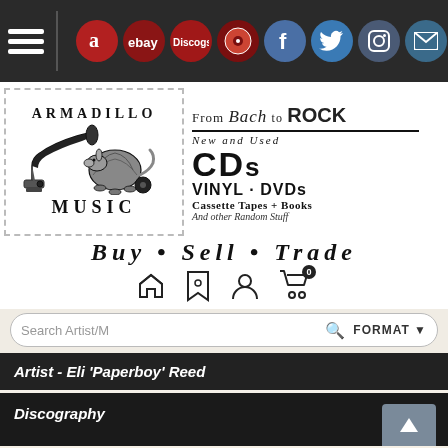Navigation bar with hamburger menu and social/marketplace icons (Amazon, eBay, Discogs, vinyl, Facebook, Twitter, Instagram, Mail)
[Figure (logo): Armadillo Music store logo with gramophone and armadillo illustration, dotted border]
From Bach to ROCK
New and Used
CDs
VINYL • DVDs
Cassette Tapes + Books
And other Random Stuff
BUY • SELL • TRADE
Search Artist/M FORMAT
Artist - Eli 'Paperboy' Reed
Discography
Eli Paperboy Reed
DOWN EVERY ROAD